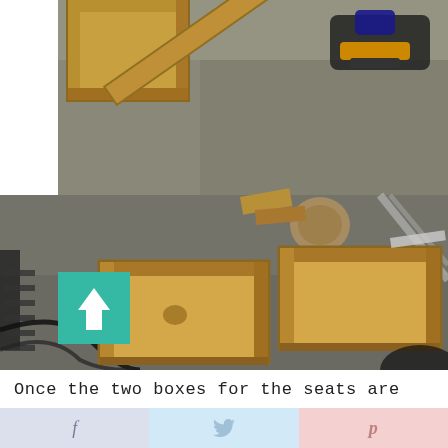[Figure (photo): Two workshop photos stacked: top shows wooden box frame pieces and a staple gun on concrete floor; bottom shows two completed wooden seat boxes (open tops) on concrete floor, with a teal up-arrow button overlay and various tools visible]
Once the two boxes for the seats are
[Figure (infographic): Social share bar with three sections: Facebook (f), Twitter (bird icon), Pinterest (p) on pastel lavender, blue, and pink backgrounds]